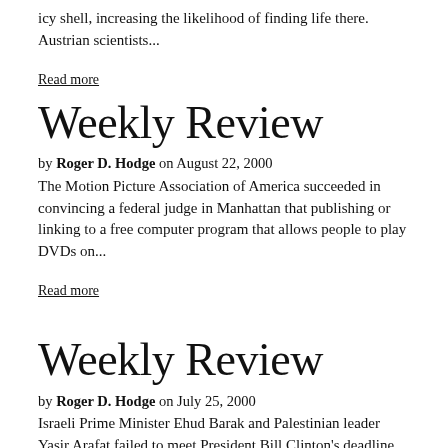icy shell, increasing the likelihood of finding life there. Austrian scientists...
Read more
Weekly Review
by Roger D. Hodge on August 22, 2000
The Motion Picture Association of America succeeded in convincing a federal judge in Manhattan that publishing or linking to a free computer program that allows people to play DVDs on...
Read more
Weekly Review
by Roger D. Hodge on July 25, 2000
Israeli Prime Minister Ehud Barak and Palestinian leader Yasir Arafat failed to meet President Bill Clinton's deadline for making peace in the Middle East; Clinton declared the summit